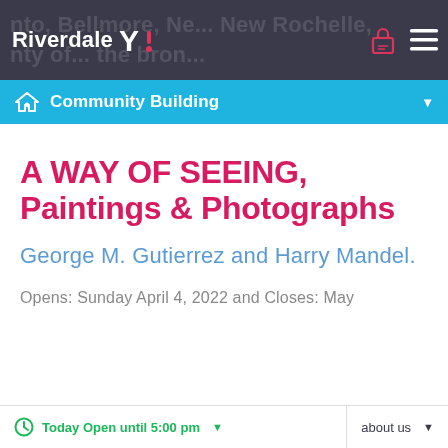Riverdale Y! — Community Building
A WAY OF SEEING, Paintings & Photographs
George M. Gutierrez and Harry Mandel.
Opens: Sunday April 4, 2022 and Closes: May
Today Open until 5:00 pm | about us